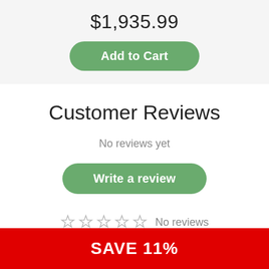$1,935.99
Add to Cart
Customer Reviews
No reviews yet
Write a review
No reviews
SAVE 11%